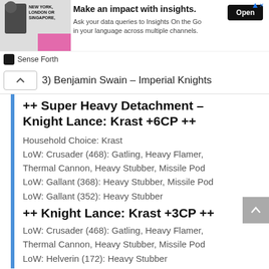[Figure (screenshot): Advertisement banner for Sense Forth / Insights On the Go product. Shows a person in a business setting with text 'NEW YORK, LONDON OR SINGAPORE.' and headline 'Make an impact with insights.' with body text 'Ask your data queries to Insights On the Go in your language across multiple channels.' and an Open button.]
3) Benjamin Swain – Imperial Knights
++ Super Heavy Detachment – Knight Lance: Krast +6CP ++
Household Choice: Krast
LoW: Crusader (468): Gatling, Heavy Flamer, Thermal Cannon, Heavy Stubber, Missile Pod
LoW: Gallant (368): Heavy Stubber, Missile Pod
LoW: Gallant (352): Heavy Stubber
++ Knight Lance: Krast +3CP ++
LoW: Crusader (468): Gatling, Heavy Flamer, Thermal Cannon, Heavy Stubber, Missile Pod
LoW: Helverin (172): Heavy Stubber
LoW: Helverin (172): Heavy Stubber
++ Total: 12CP, 2000pts ++